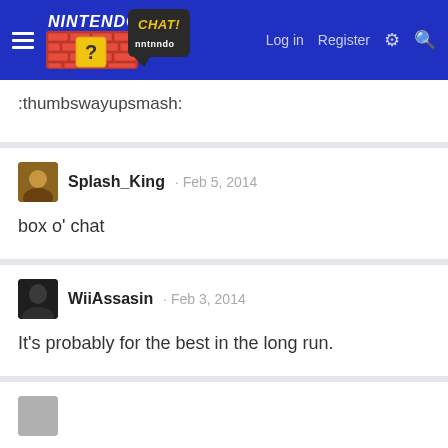Nintendo Chat - Log in  Register
:thumbswayupsmash:
Splash_King · Feb 5, 2014
box o' chat
WiiAssasin · Feb 3, 2014
It's probably for the best in the long run.